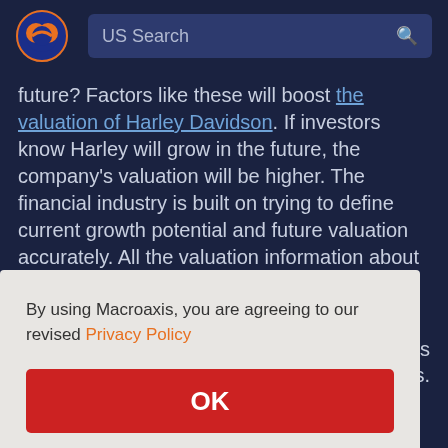US Search
future? Factors like these will boost the valuation of Harley Davidson. If investors know Harley will grow in the future, the company's valuation will be higher. The financial industry is built on trying to define current growth potential and future valuation accurately. All the valuation information about Harley Davidson listed above have to be
By using Macroaxis, you are agreeing to our revised Privacy Policy
OK
Harley that is recorded on the company's balance sheet. Investors